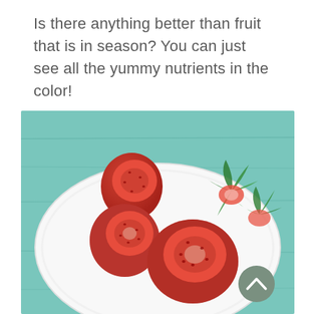Is there anything better than fruit that is in season? You can just see all the yummy nutrients in the color!
[Figure (photo): A white oval plate on a teal/turquoise wooden surface, holding three hulled strawberries showing their red flesh, and in the upper right of the plate are the green strawberry tops/caps that were removed. A circular grey scroll-to-top button is overlaid in the bottom right of the image.]